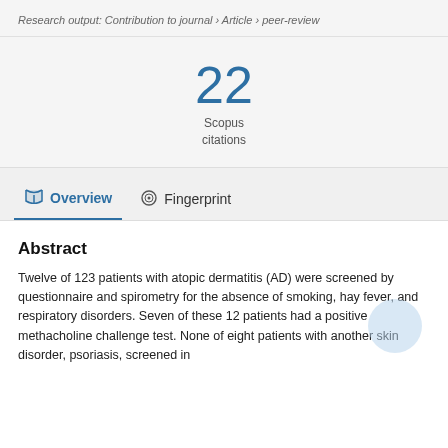Research output: Contribution to journal › Article › peer-review
22
Scopus
citations
Overview
Fingerprint
Abstract
Twelve of 123 patients with atopic dermatitis (AD) were screened by questionnaire and spirometry for the absence of smoking, hay fever, and respiratory disorders. Seven of these 12 patients had a positive methacholine challenge test. None of eight patients with another skin disorder, psoriasis, screened in